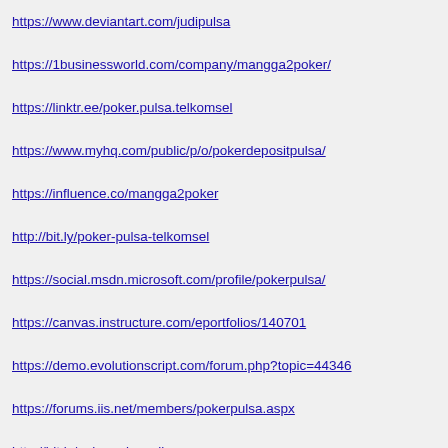https://www.deviantart.com/judipulsa
https://1businessworld.com/company/mangga2poker/
https://linktr.ee/poker.pulsa.telkomsel
https://www.myhq.com/public/p/o/pokerdepositpulsa/
https://influence.co/mangga2poker
http://bit.ly/poker-pulsa-telkomsel
https://social.msdn.microsoft.com/profile/pokerpulsa/
https://canvas.instructure.com/eportfolios/140701
https://demo.evolutionscript.com/forum.php?topic=44346
https://forums.iis.net/members/pokerpulsa.aspx
http://bit.ly/pokerpulsaonline